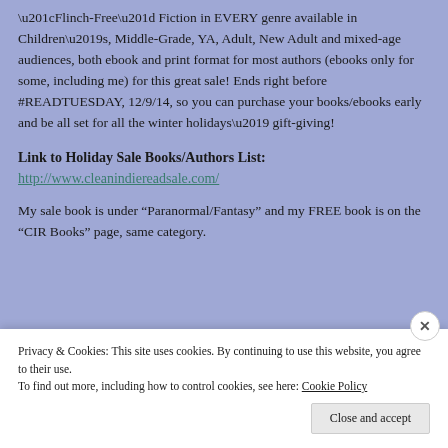“Flinch-Free” Fiction in EVERY genre available in Children’s, Middle-Grade, YA, Adult, New Adult and mixed-age audiences, both ebook and print format for most authors (ebooks only for some, including me) for this great sale! Ends right before #READTUESDAY, 12/9/14, so you can purchase your books/ebooks early and be all set for all the winter holidays’ gift-giving!
Link to Holiday Sale Books/Authors List:
http://www.cleanindiereadsale.com/
My sale book is under “Paranormal/Fantasy” and my FREE book is on the “CIR Books” page, same category.
Privacy & Cookies: This site uses cookies. By continuing to use this website, you agree to their use.
To find out more, including how to control cookies, see here: Cookie Policy